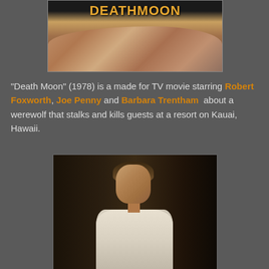[Figure (photo): Movie title card for DEATHMOON showing the title in orange text over a dark background with a moon surface visible]
"Death Moon" (1978) is a made for TV movie starring Robert Foxworth, Joe Penny and Barbara Trentham about a werewolf that stalks and kills guests at a resort on Kauai, Hawaii.
[Figure (photo): A young man in a white jacket looking upward, photographed in low light with dark background]